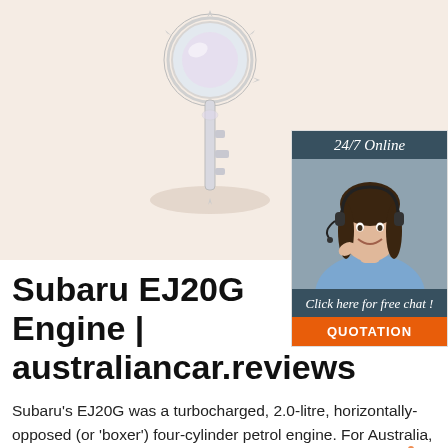[Figure (photo): A decorative key pendant with crystals on a light beige background, held by a hand. Part of an advertisement.]
[Figure (infographic): Advertisement box with dark teal header reading '24/7 Online', photo of a smiling woman with headset, text 'Click here for free chat!' and orange QUOTATION button.]
Subaru EJ20G Engine | australiancar.reviews
Subaru's EJ20G was a turbocharged, 2.0-litre, horizontally-opposed (or 'boxer') four-cylinder petrol engine. For Australia, the EJ20G engine powered the GC/GM Impreza WRX from 1994 to 1996; key